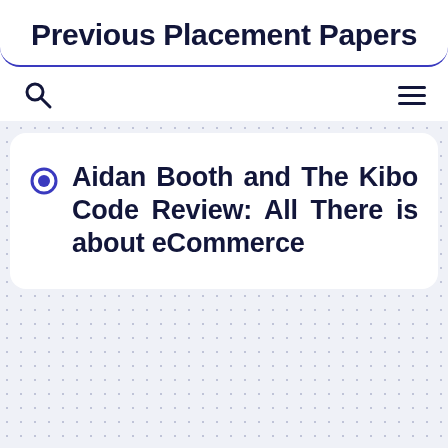Previous Placement Papers
Aidan Booth and The Kibo Code Review: All There is about eCommerce